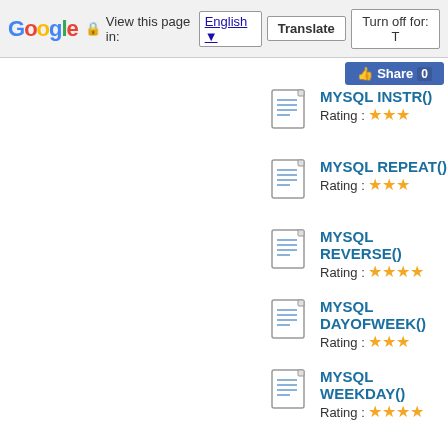Google — View this page in: English | Translate | Turn off for: T
MYSQL INSTR() — Rating: 3 stars
MYSQL REPEAT() — Rating: 3 stars
MYSQL REVERSE() — Rating: 4 stars
MYSQL DAYOFWEEK() — Rating: 3 stars
MYSQL WEEKDAY() — Rating: 4 stars
MYSQL DAYOFMONTH() — Rating: 3 stars
MYSQL DAYOFYEAR() — Rating: 3 stars
MYSQL DAYNAME() — Rating: 4 stars
MYSQL MONTHNAME() — Rating: (partially visible)